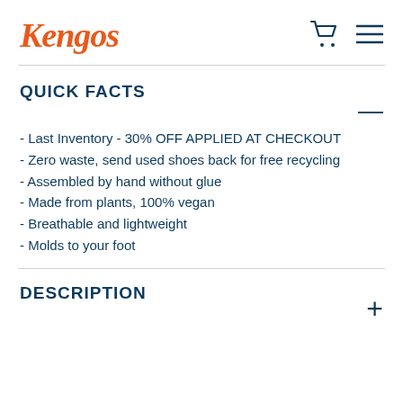Kengos
QUICK FACTS
- Last Inventory - 30% OFF APPLIED AT CHECKOUT
- Zero waste, send used shoes back for free recycling
- Assembled by hand without glue
- Made from plants, 100% vegan
- Breathable and lightweight
- Molds to your foot
DESCRIPTION